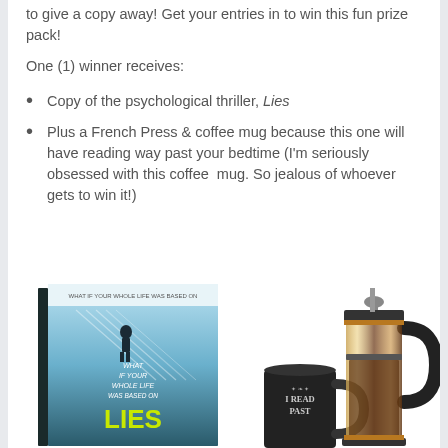to give a copy away! Get your entries in to win this fun prize pack!
One (1) winner receives:
Copy of the psychological thriller, Lies
Plus a French Press & coffee mug because this one will have reading way past your bedtime (I'm seriously obsessed with this coffee mug. So jealous of whoever gets to win it!)
[Figure (photo): Photo of the book 'Lies' (psychological thriller with cover text: WHAT IF YOUR WHOLE LIFE WAS BASED ON LIES) alongside a black coffee mug labeled 'I READ PAST' and a copper/glass French press coffee maker]